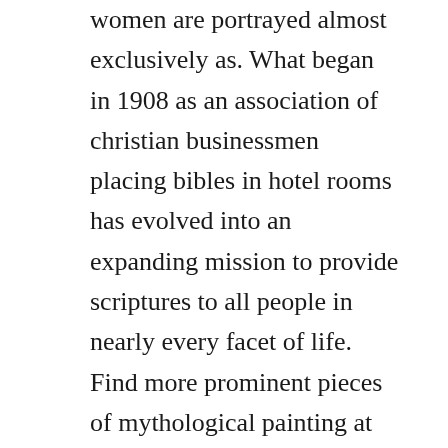women are portrayed almost exclusively as. What began in 1908 as an association of christian businessmen placing bibles in hotel rooms has evolved into an expanding mission to provide scriptures to all people in nearly every facet of life. Find more prominent pieces of mythological painting at best visual art database. Customer service associate nashville 3 months ago view job description full time. And so at gideons firm command, all those who feared abstained, and when they had departed thence, ten thousand men remained. If youre not the card writing sort,